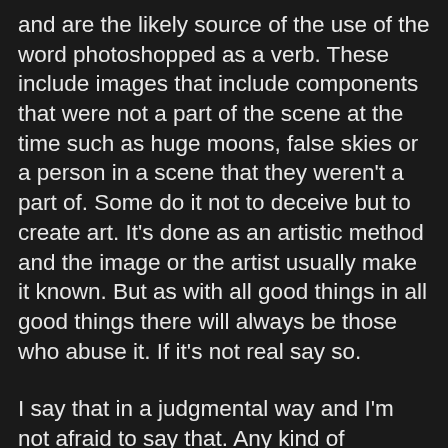and are the likely source of the use of the word photoshopped as a verb. These include images that include components that were not a part of the scene at the time such as huge moons, false skies or a person in a scene that they weren't a part of. Some do it not to deceive but to create art. It's done as an artistic method and the image or the artist usually make it known. But as with all good things in all good things there will always be those who abuse it. If it's not real say so.
I say that in a judgmental way and I'm not afraid to say that. Any kind of deception isn't good. In the world of photography it makes those who would otherwise enjoy genuine hard earned and skillfully made photos